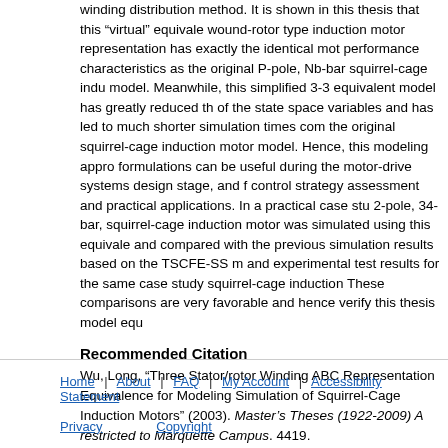winding distribution method. It is shown in this thesis that this "virtual" equivalent wound-rotor type induction motor representation has exactly the identical motor performance characteristics as the original P-pole, Nb-bar squirrel-cage induction model. Meanwhile, this simplified 3-3 equivalent model has greatly reduced the number of the state space variables and has led to much shorter simulation times compared to the original squirrel-cage induction motor model. Hence, this modeling approach and formulations can be useful during the motor-drive systems design stage, and for control strategy assessment and practical applications. In a practical case study, a 2-pole, 34-bar, squirrel-cage induction motor was simulated using this equivalent model and compared with the previous simulation results based on the TSCFE-SS method and experimental test results for the same case study squirrel-cage induction motor. These comparisons are very favorable and hence verify this thesis model equi
Recommended Citation
Wu, Long, "Three Stator/rotor Winding ABC Representation Equivalence for Modeling and Simulation of Squirrel-Cage Induction Motors" (2003). Master's Theses (1922-2009) Access restricted to Marquette Campus. 4419.
https://epublications.marquette.edu/theses/4419
Home | About | FAQ | My Account | Accessibility Statement
Privacy  Copyright